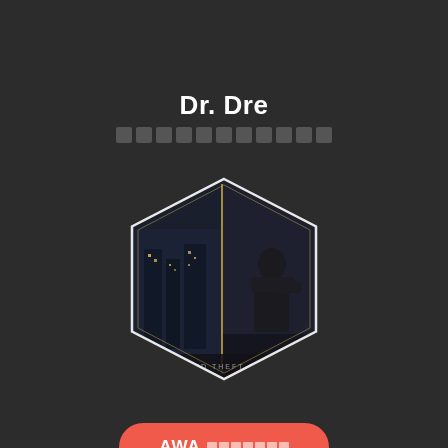Dr. Dre
▪▪▪▪▪▪▪▪▪▪▪
[Figure (illustration): Hexagonal framed album cover image showing a man standing on a rooftop overlooking a night cityscape, with text 'GRAND THEFT AUTO' at the bottom]
AWA▪▪▪▪▪▪▪